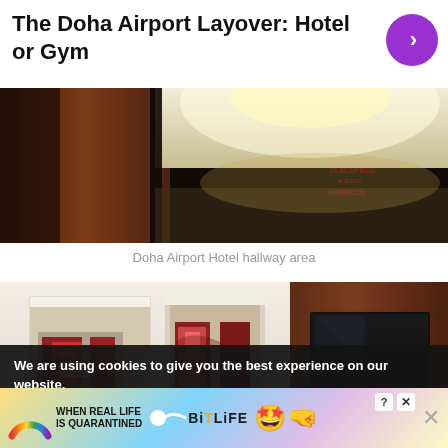The Doha Airport Layover: Hotel or Gym
[Figure (photo): Doha Airport Hotel hallway area – warm overhead lighting illuminating a wood panel wall and white ceiling corridor]
Doha Airport Hotel hallway area
[Figure (photo): Doha Airport Hotel room interior showing two abstract red and white artworks on the wall and a dark wood panel with recessed black flat-screen TV]
We are using cookies to give you the best experience on our website.
You can find out more about which cookies we are using or switch them off in settings.
[Figure (infographic): BitLife advertisement banner: rainbow graphic on left, text 'WHEN REAL LIFE IS QUARANTINED', BitLife logo with star emoji, close buttons]